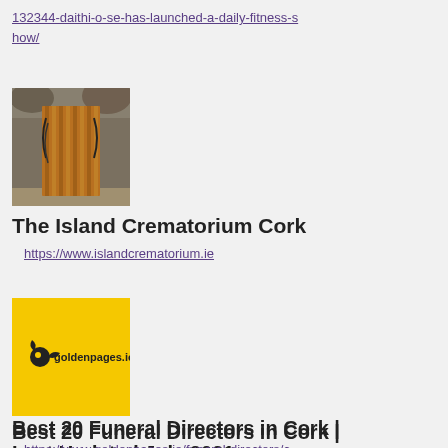132344-daithi-o-se-has-launched-a-daily-fitness-show/
[Figure (photo): Photo of a wooden structure, appears to be a crematorium entrance or chapel set in a rocky/natural environment]
The Island Crematorium Cork
https://www.islandcrematorium.ie
[Figure (logo): Golden Pages logo on yellow background - goldenpages.ie with bird icon]
Best 20 Funeral Directors in Cork | Last Updated July 2021
https://www.goldenpages.ie/funeral-directors/c